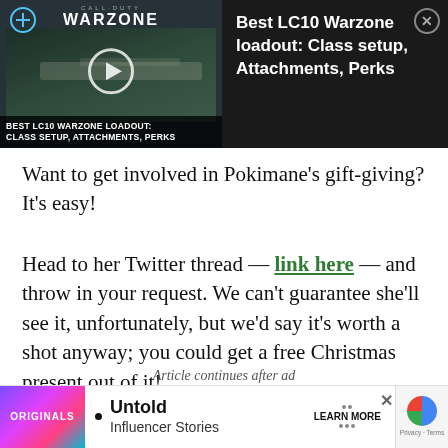[Figure (screenshot): Call of Duty Warzone video thumbnail ad showing 'Best LC10 Warzone loadout: Class setup, Attachments, Perks' with play button and caption text on dark background]
Want to get involved in Pokimane’s gift-giving? It’s easy!
Head to her Twitter thread — link here — and throw in your request. We can’t guarantee she’ll see it, unfortunately, but we’d say it’s worth a shot anyway; you could get a free Christmas present out of it!
Article continues after ad
[Figure (screenshot): Bottom advertisement banner for 'Untold Influencer Stories' from Originals, with Learn More button and reCAPTCHA badge]